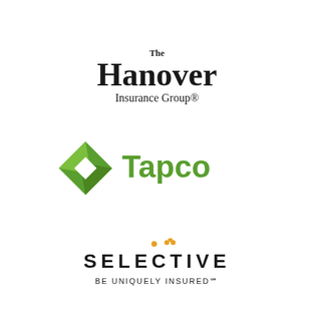[Figure (logo): The Hanover Insurance Group logo — bold black serif text with 'The' small above a large 'Hanover' and 'Insurance Group®' below]
[Figure (logo): Tapco logo — green diamond/rhombus shape with white inner diamond, followed by bold green sans-serif 'Tapco' text]
[Figure (logo): Selective Insurance logo — black spaced uppercase sans-serif 'SELECTIVE' with small orange dots above the I and V, and 'BE UNIQUELY INSURED℠' subtitle below]